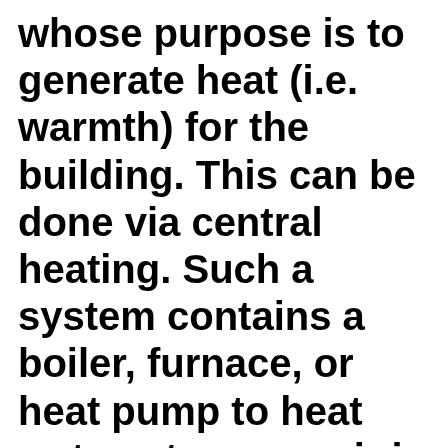whose purpose is to generate heat (i.e. warmth) for the building. This can be done via central heating. Such a system contains a boiler, furnace, or heat pump to heat water, steam, or air in a central location such as a furnace room in a home, or a mechanical room in a large building. The heat can be transferred by convection, conduction